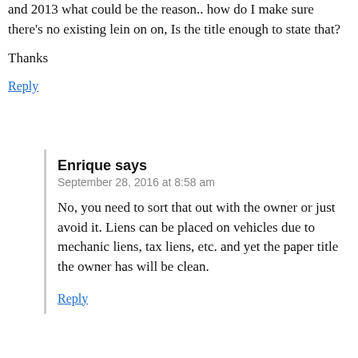and 2013 what could be the reason.. how do I make sure there's no existing lein on on, Is the title enough to state that?
Thanks
Reply
Enrique says
September 28, 2016 at 8:58 am
No, you need to sort that out with the owner or just avoid it. Liens can be placed on vehicles due to mechanic liens, tax liens, etc. and yet the paper title the owner has will be clean.
Reply